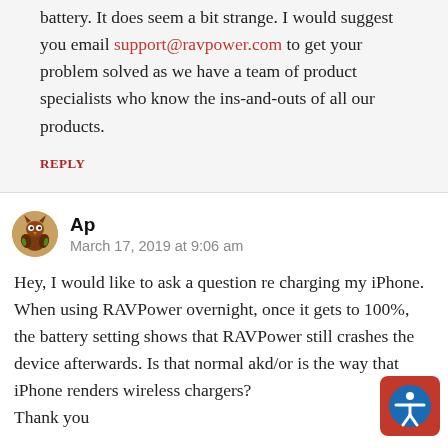battery. It does seem a bit strange. I would suggest you email support@ravpower.com to get your problem solved as we have a team of product specialists who know the ins-and-outs of all our products.
REPLY
Ap
March 17, 2019 at 9:06 am
Hey, I would like to ask a question re charging my iPhone.
When using RAVPower overnight, once it gets to 100%, the battery setting shows that RAVPower still crashes the device afterwards. Is that normal akd/or is the way that iPhone renders wireless chargers?
Thank you